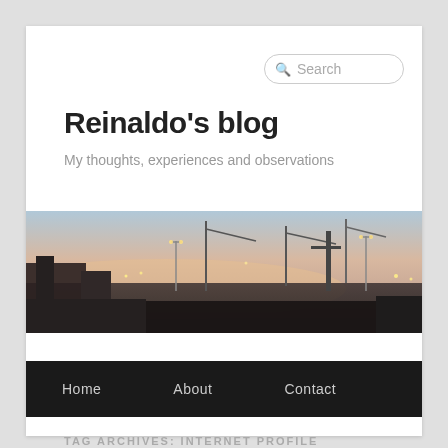Search
Reinaldo's blog
My thoughts, experiences and observations
[Figure (photo): Dusk/twilight cityscape with cranes, construction, street lights and a pink-blue sky reflecting on water]
Home   About   Contact
TAG ARCHIVES: INTERNET PROFILE